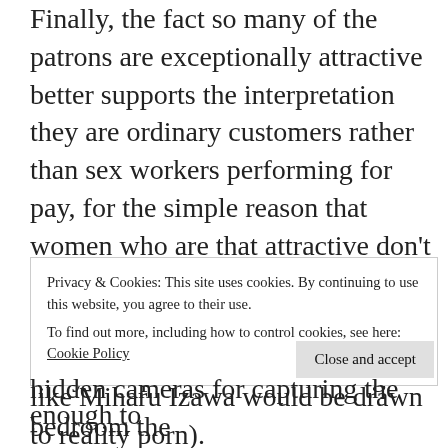Finally, the fact so many of the patrons are exceptionally attractive better supports the interpretation they are ordinary customers rather than sex workers performing for pay, for the simple reason that women who are that attractive don't wind up in the sex business, porn stars aside (making it all the more mysterious why "branded" AV idols like Miharu Izawa would be drawn to reality porn).
Only one pool of women is large enough to
Privacy & Cookies: This site uses cookies. By continuing to use this website, you agree to their use.
To find out more, including how to control cookies, see here: Cookie Policy
Close and accept
hidden cameras for capturing the bedroom the